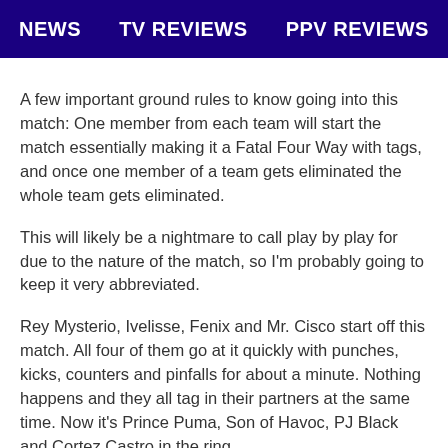NEWS   TV REVIEWS   PPV REVIEWS
A few important ground rules to know going into this match: One member from each team will start the match essentially making it a Fatal Four Way with tags, and once one member of a team gets eliminated the whole team gets eliminated.
This will likely be a nightmare to call play by play for due to the nature of the match, so I'm probably going to keep it very abbreviated.
Rey Mysterio, Ivelisse, Fenix and Mr. Cisco start off this match. All four of them go at it quickly with punches, kicks, counters and pinfalls for about a minute. Nothing happens and they all tag in their partners at the same time. Now it's Prince Puma, Son of Havoc, PJ Black and Cortez Castro in the ring.